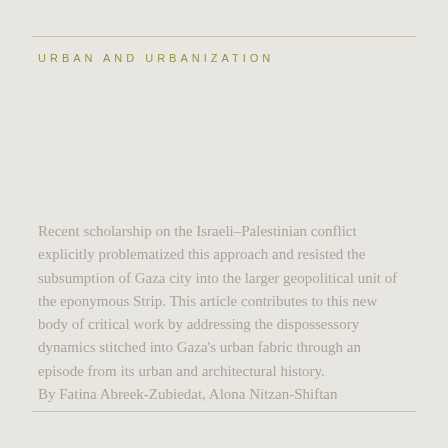URBAN AND URBANIZATION
Recent scholarship on the Israeli–Palestinian conflict explicitly problematized this approach and resisted the subsumption of Gaza city into the larger geopolitical unit of the eponymous Strip. This article contributes to this new body of critical work by addressing the dispossessory dynamics stitched into Gaza's urban fabric through an episode from its urban and architectural history.
By Fatina Abreek-Zubiedat, Alona Nitzan-Shiftan